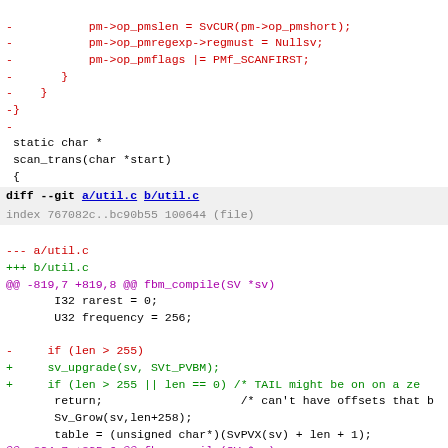diff --git a/util.c b/util.c code block showing removed lines (red) with pm->op_pmslen, pm->op_pmregexp->regmust, pm->op_pmflags, closing braces, static char * scan_trans(char *start) {
diff --git a/util.c b/util.c
index 767082c..bc90b55 100644 (file)
--- a/util.c
+++ b/util.c
@@ -819,7 +819,8 @@ fbm_compile(SV *sv)
        I32 rarest = 0;
        U32 frequency = 256;

-      if (len > 255)
+      sv_upgrade(sv, SVt_PVBM);
+      if (len > 255 || len == 0) /* TAIL might be on on a ze
        return;                    /* can't have offsets that b
        Sv_Grow(sv,len+258);
        table = (unsigned char*)(SvPVX(sv) + len + 1);
@@ -834,7 +835,6 @@ fbm_compile(SV *sv)
               table[*s] = i;
              s--,i++;
        }
-      sv_upgrade(sv, SVt_PVBM);
        sv_magic(sv, Nullsv, 'B', Nullch, 0);  /* deep magi
        SvVALID_op(sv);